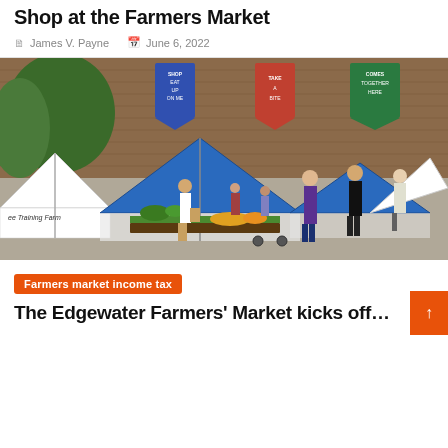Shop at the Farmers Market
James V. Payne   June 6, 2022
[Figure (photo): Outdoor farmers market scene with white and blue canopy tents, vendors selling produce including greens and fruits, shoppers browsing, brick wall in background with colorful banners (blue, red/orange, green). Sign reads 'Training Farm'. People visible in foreground and background on a paved lot.]
Farmers market income tax
The Edgewater Farmers' Market kicks off…